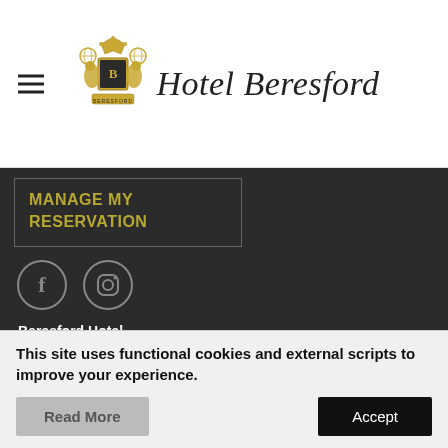Hotel Beresford
MANAGE MY RESERVATION
[Figure (illustration): Facebook and Instagram social media icons as circles with f and camera symbols]
Beresford Hotel
635 Sutter St, San Francisco, CA 94102 (800) 533-6533
VISIT OUR SISTER SAN FRANCISCO HOTEL
BERESFORD ARMS
This site uses functional cookies and external scripts to improve your experience.
Read More
Accept